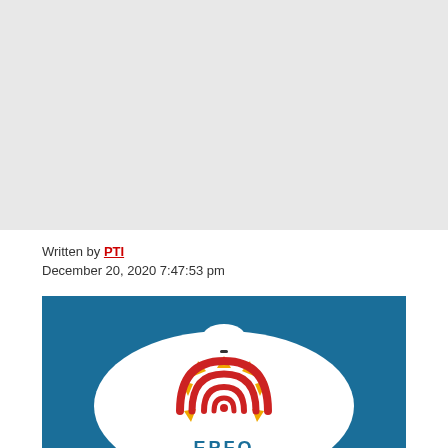[Figure (other): Grey placeholder block at top of page]
Written by PTI
December 20, 2020 7:47:53 pm
[Figure (logo): EPFO logo on blue background featuring Aadhaar-style fingerprint design with sun rays in gold/yellow and red arcs, with white piggy bank silhouette on top and text EPFO below]